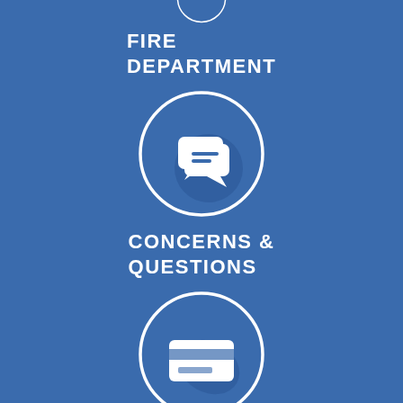[Figure (infographic): Partial circle icon at top showing fire department symbol (partially cropped at top)]
FIRE DEPARTMENT
[Figure (infographic): Circle icon with white speech/chat bubbles icon with shadow on blue background]
CONCERNS & QUESTIONS
[Figure (infographic): Circle icon with white credit card icon with shadow on blue background]
ONLINE PAYMENTS
[Figure (infographic): Partial circle icon at bottom showing briefcase icon (partially cropped at bottom)]